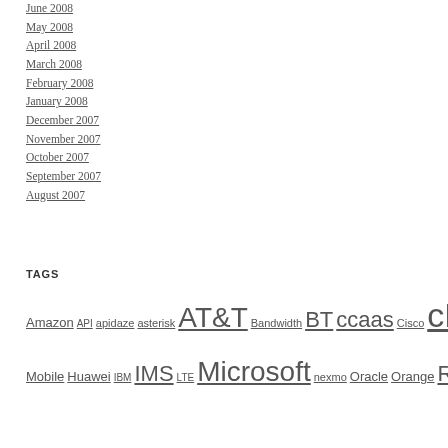June 2008
May 2008
April 2008
March 2008
February 2008
January 2008
December 2007
November 2007
October 2007
September 2007
August 2007
TAGS
Amazon API apidaze asterisk AT&T Bandwidth BT ccaas Cisco cPaaS Ericsson Facebook Google hSenid Mobile Huawei IBM IMS LTE Microsoft nexmo Oracle Orange RCS Ringcentral sangoma SDP Simwood TADHack TADS